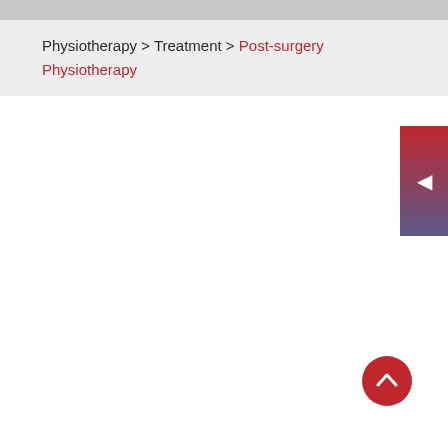Physiotherapy > Treatment > Post-surgery Physiotherapy
[Figure (other): Navigation side button with left-pointing arrow, gradient from red to blue-purple]